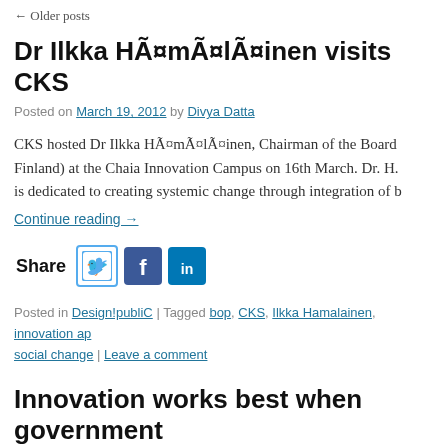← Older posts
Dr Ilkka Hämäläinen visits CKS
Posted on March 19, 2012 by Divya Datta
CKS hosted Dr Ilkka Hämäläinen, Chairman of the Board (Finland) at the Chaia Innovation Campus on 16th March. Dr. H. is dedicated to creating systemic change through integration of b...
Continue reading →
[Figure (infographic): Share section with Twitter, Facebook, and LinkedIn icons]
Posted in Design!publiC | Tagged bop, CKS, Ilkka Hamalainen, innovation ap... social change | Leave a comment
Innovation works best when government...
Posted on March 16, 2012 by Sedona Chinn